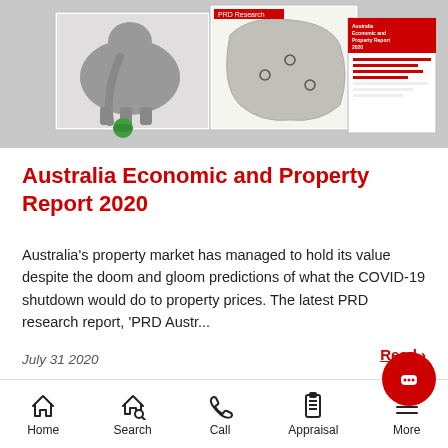[Figure (screenshot): Hero image showing three document pages fanned out: one with an elephant balancing on a ball, one with an Australia map infographic, and one with a red-themed report page]
Australia Economic and Property Report 2020
Australia's property market has managed to hold its value despite the doom and gloom predictions of what the COVID-19 shutdown would do to property prices. The latest PRD research report, 'PRD Austr...
July 31 2020
Read >
Home  Search  Call  Appraisal  More